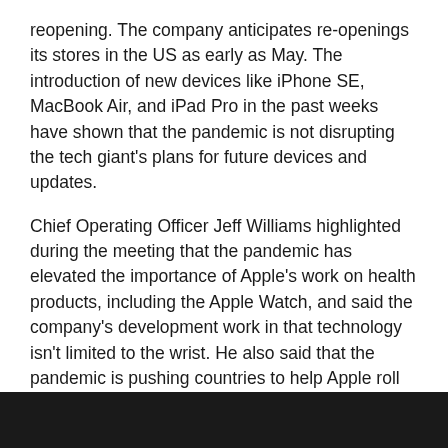reopening. The company anticipates re-openings its stores in the US as early as May. The introduction of new devices like iPhone SE, MacBook Air, and iPad Pro in the past weeks have shown that the pandemic is not disrupting the tech giant's plans for future devices and updates.
Chief Operating Officer Jeff Williams highlighted during the meeting that the pandemic has elevated the importance of Apple's work on health products, including the Apple Watch, and said the company's development work in that technology isn't limited to the wrist. He also said that the pandemic is pushing countries to help Apple roll out the Apple Watch's electrocardiogram feature in their region.